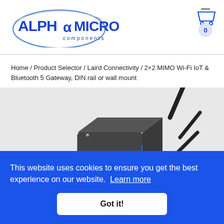[Figure (logo): Alpha Micro Components logo with stylized alpha symbol and blue text]
Home / Product Selector / Laird Connectivity / 2×2 MIMO Wi-Fi IoT & Bluetooth 5 Gateway, DIN rail or wall mount
[Figure (photo): Product photo of a 2x2 MIMO Wi-Fi IoT & Bluetooth 5 Gateway device with antennas, dark grey box on grey background]
This website uses cookies to ensure you get the best experience on our website. Learn more
Got it!